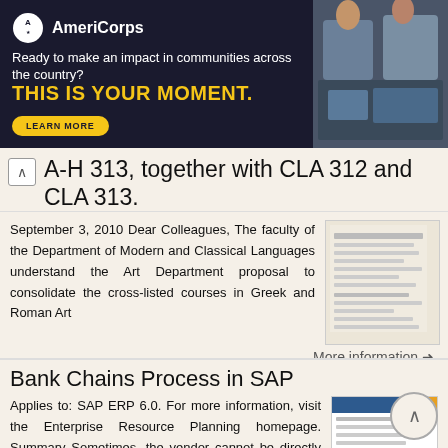[Figure (screenshot): AmeriCorps advertisement banner. Logo with circle icon, tagline 'Ready to make an impact in communities across the country?', bold yellow text 'THIS IS YOUR MOMENT.', LEARN MORE button, and a photo of people at computers on the right.]
A-H 313, together with CLA 312 and CLA 313.
September 3, 2010 Dear Colleagues, The faculty of the Department of Modern and Classical Languages understand the Art Department proposal to consolidate the cross-listed courses in Greek and Roman Art
More information →
Bank Chains Process in SAP
Applies to: SAP ERP 6.0. For more information, visit the Enterprise Resource Planning homepage. Summary Sometimes, the vendor cannot be directly into its bank account by the organizations. They would have